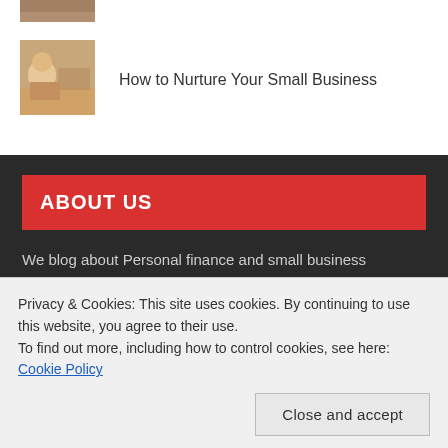[Figure (photo): Small cropped thumbnail image at top, partially visible]
[Figure (photo): Thumbnail image of person at desk, small business context]
How to Nurture Your Small Business
ABOUT US
We blog about Personal finance and small business management. Our mission is to increase financial and business literacy among Gambian Youths.
This site is owned by I-Grow Venture ltd. Gambian based solution
Privacy & Cookies: This site uses cookies. By continuing to use this website, you agree to their use.
To find out more, including how to control cookies, see here: Cookie Policy
Close and accept